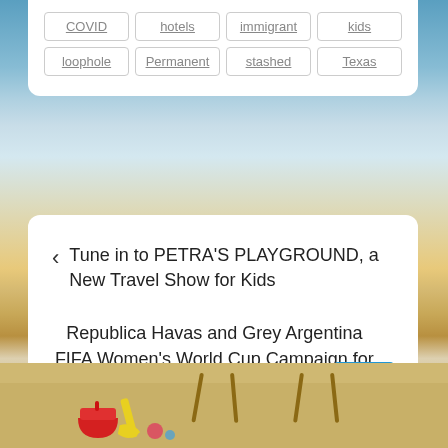COVID
hotels
immigrant
kids
loophole
Permanent
stashed
Texas
< Tune in to PETRA'S PLAYGROUND, a New Travel Show for Kids
Republica Havas and Grey Argentina FIFA Women's World Cup Campaign for Telemundo Deportes Wins Bronze at the 2020 Effie North America Awards >
[Figure (photo): Beach background photo with blue sky, ocean water, beach chairs, and children's toys (red bucket, yellow shovel) in the sand]